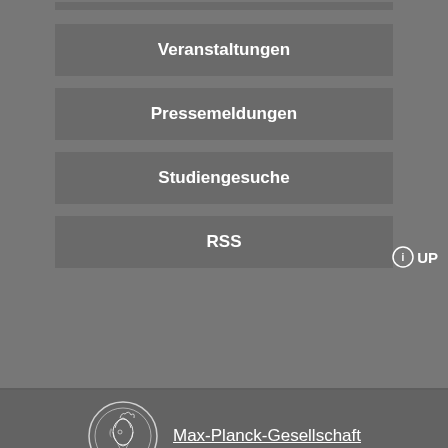Veranstaltungen
Pressemeldungen
Studiengesuche
RSS
[Figure (logo): Max-Planck-Gesellschaft circular medallion logo in white outline]
Max-Planck-Gesellschaft
⊘ Über die MPG   Impressum   Kontakt   Sitemap
Self-Service   Datenschutzhinweis
© 2022, Max-Planck-Gesellschaft